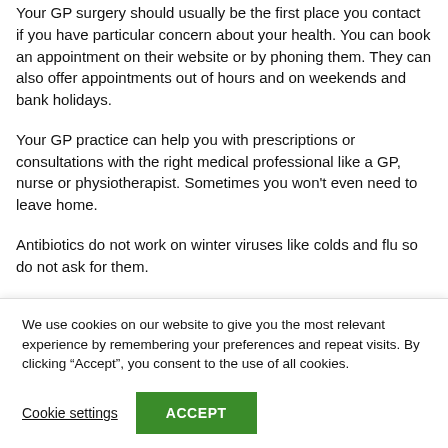Your GP surgery should usually be the first place you contact if you have particular concern about your health. You can book an appointment on their website or by phoning them. They can also offer appointments out of hours and on weekends and bank holidays.
Your GP practice can help you with prescriptions or consultations with the right medical professional like a GP, nurse or physiotherapist. Sometimes you won't even need to leave home.
Antibiotics do not work on winter viruses like colds and flu so do not ask for them.
We use cookies on our website to give you the most relevant experience by remembering your preferences and repeat visits. By clicking “Accept”, you consent to the use of all cookies.
Cookie settings
ACCEPT